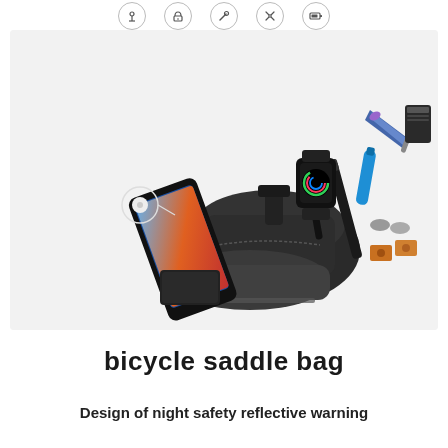[Figure (infographic): Row of 5 small circular icons representing product features (earphones, lock, wrench/tool, scissors/multi-tool, battery/charger)]
[Figure (photo): Product photo of a black bicycle saddle bag open with items spread out around it including a smartphone, smartwatch, earphones, tools, mini pump, patch kit, power bank, and bicycle multi-tool on a light gray background]
bicycle saddle bag
Design of night safety reflective warning